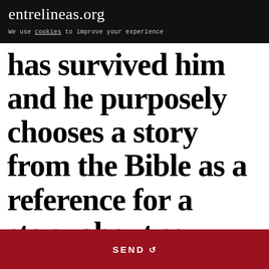entrelineas.org
We use cookies to improve your experience
has survived him and he purposely chooses a story from the Bible as a reference for a story about sex, spite and death.
SEND